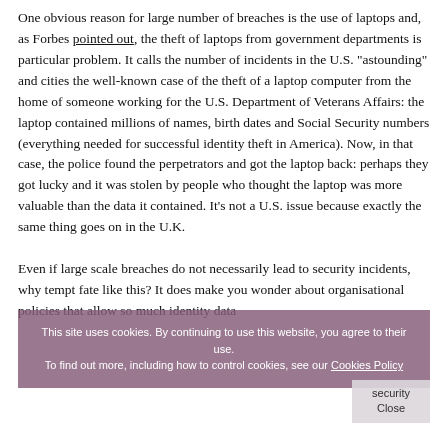One obvious reason for large number of breaches is the use of laptops and, as Forbes pointed out, the theft of laptops from government departments is particular problem.  It calls the number of incidents in the U.S. "astounding" and cities the well-known case of the theft of a laptop computer from the home of someone working for the U.S. Department of Veterans Affairs: the laptop contained millions of names, birth dates and Social Security numbers (everything needed for successful identity theft in America).  Now, in that case, the police found the perpetrators and got the laptop back: perhaps they got lucky and it was stolen by people who thought the laptop was more valuable than the data it contained.  It's not a U.S. issue because exactly the same thing goes on in the U.K.
Even if large scale breaches do not necessarily lead to security incidents, why tempt fate like this?  It does make you wonder about organisational policies that allow so much identity data